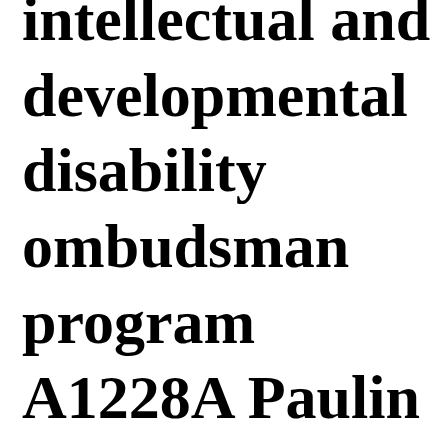intellectual and developmental disability ombudsman program A1228A Paulin — Relates to making certain